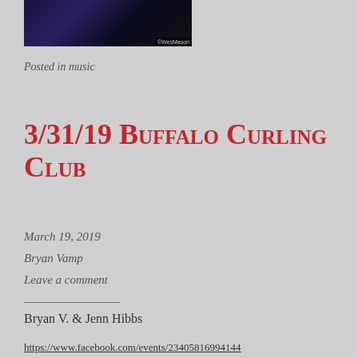[Figure (photo): Dark photo of a DJ at a music event with WesMason watermark]
Posted in music
3/31/19 Buffalo Curling Club
March 19, 2019
Bryan Vamp
Leave a comment
Bryan V. & Jenn Hibbs
https://www.facebook.com/events/23405816994144